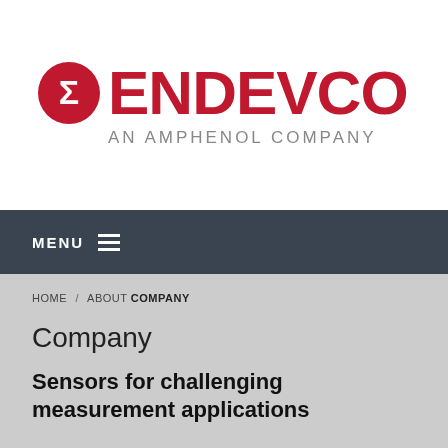[Figure (logo): Endevco logo with red circle containing sigma/arrow symbol, red bold ENDEVCO text, and gray AN AMPHENOL COMPANY subtitle]
MENU ≡
HOME / ABOUT COMPANY
Company
Sensors for challenging measurement applications